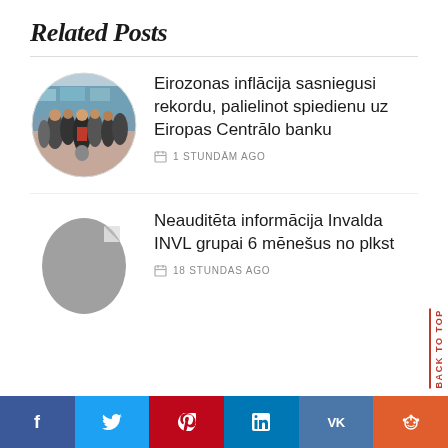Related Posts
[Figure (photo): Oval thumbnail photo of people walking on a busy shopping street, crowd scene outdoors]
Eirozonas inflācija sasniegusi rekordu, palielinot spiedienu uz Eiropas Centrālo banku
1 STUNDĀM AGO
[Figure (photo): Gray placeholder oval image (no photo loaded)]
Neauditēta informācija Invalda INVL grupai 6 mēnešus no plkst
18 STUNDAS AGO